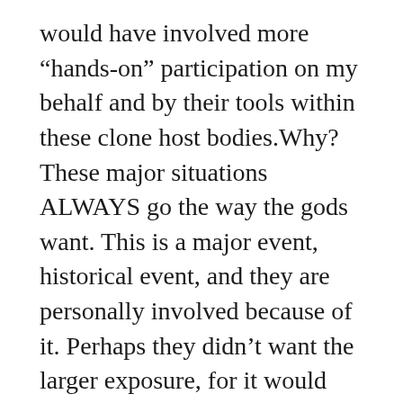would have involved more “hands-on” participation on my behalf and by their tools within these clone host bodies.Why? These major situations ALWAYS go the way the gods want. This is a major event, historical event, and they are personally involved because of it. Perhaps they didn’t want the larger exposure, for it would have educated the disfavored. Perhaps it would have legitimized my legacy, forcing them to recognize it and compensate me. Perhaps they didn’t